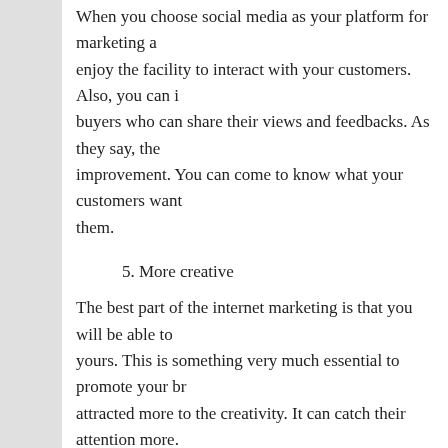When you choose social media as your platform for marketing and enjoy the facility to interact with your customers. Also, you can buyers who can share their views and feedbacks. As they say, the improvement. You can come to know what your customers want them.
5. More creative
The best part of the internet marketing is that you will be able to yours. This is something very much essential to promote your br attracted more to the creativity. It can catch their attention more.
Final Thoughts
Now, internet marketing is so important that each and every busi have to do is to choose the best digital marketing agency in Okla result. You can stand out only if you hire the best team to look af campaigns. So, you have to make sure that you are choosing the experienced team.